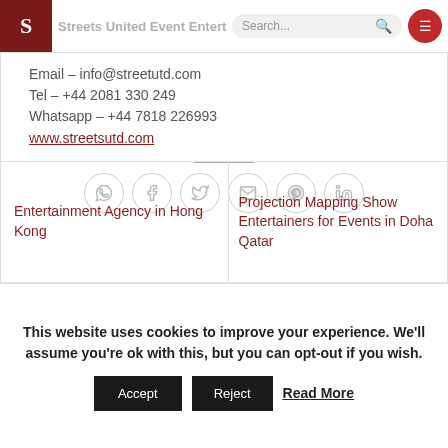Streets United Event Entertainment — Search bar and menu button
Email – info@streetutd.com
Tel – +44 2081 330 249
Whatsapp – +44 7818 226993
www.streetsutd.com
[Figure (other): Row of 6 social sharing icons (WhatsApp, Facebook, Twitter, Email, Pinterest, LinkedIn), each in a light grey circle outline]
Entertainment Agency in Hong Kong
Projection Mapping Show Entertainers for Events in Doha Qatar
This website uses cookies to improve your experience. We'll assume you're ok with this, but you can opt-out if you wish.